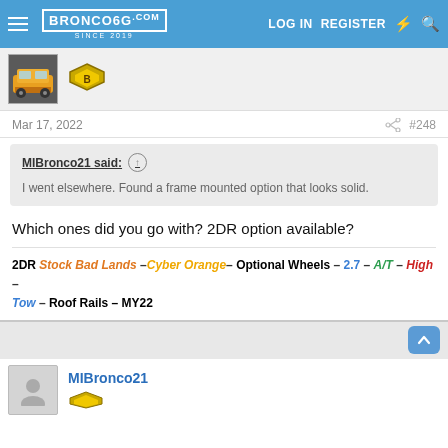BRONCO6G.COM SINCE 2019 | LOG IN | REGISTER
[Figure (screenshot): User avatar thumbnail showing a yellow Bronco vehicle, and a yellow/black badge icon]
Mar 17, 2022  #248
MIBronco21 said: ↑
I went elsewhere. Found a frame mounted option that looks solid.
Which ones did you go with? 2DR option available?
2DR Stock Bad Lands –Cyber Orange– Optional Wheels – 2.7 – A/T – High – Tow – Roof Rails – MY22
[Figure (screenshot): Bottom user row with avatar placeholder and MIBronco21 username and badge]
MIBronco21